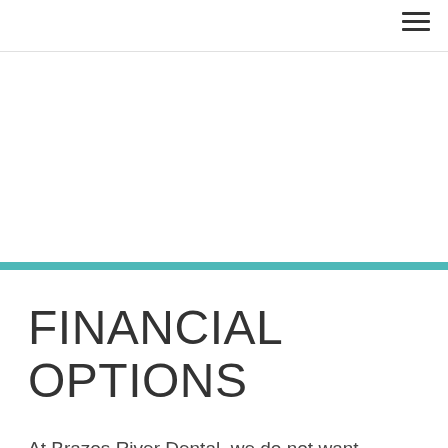☰
FINANCIAL OPTIONS
At Brazos River Dental, we do not want finances to become a barrier between you and your family and effective dental care in Mineral Wells, Texas